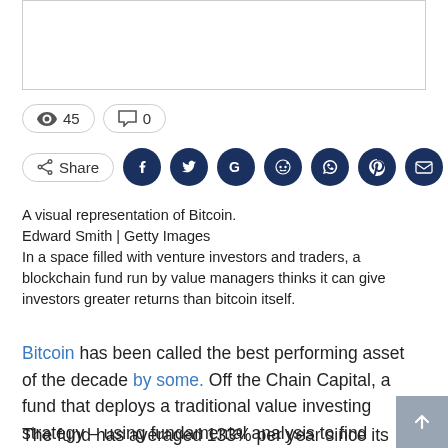[Figure (photo): Image placeholder rectangle at top of page]
45   0
Share
A visual representation of Bitcoin.
Edward Smith | Getty Images
In a space filled with venture investors and traders, a blockchain fund run by value managers thinks it can give investors greater returns than bitcoin itself.
Bitcoin has been called the best performing asset of the decade by some. Off the Chain Capital, a fund that deploys a traditional value investing strategy – using fundamental analysis to find undervalued assets – says its fund has outperformed bitcoin in each of the last five years.
The fund has averaged 133% per year since its inception in